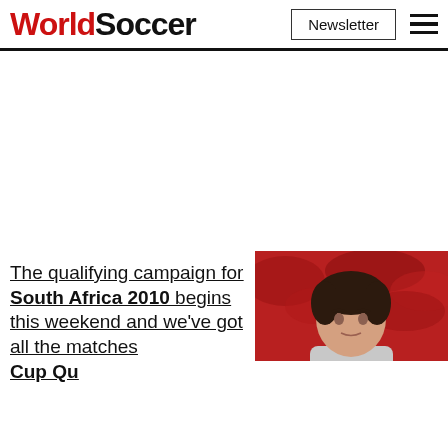WorldSoccer | Newsletter
[Figure (photo): Photo of a man, likely a soccer player or manager, with dark hair, against a reddish crowd background]
The qualifying campaign for South Africa 2010 begins this weekend and we've got all the matches... Cup Qu...